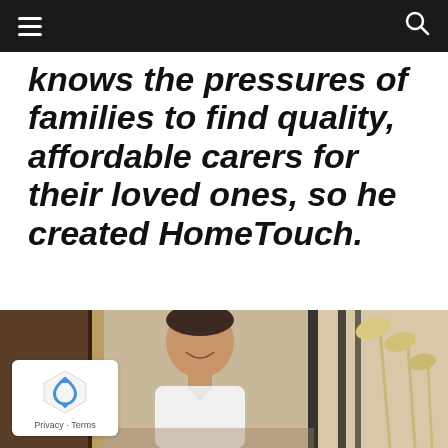Navigation bar with hamburger menu and search icon
knows the pressures of families to find quality, affordable carers for their loved ones, so he created HomeTouch.
[Figure (photo): Photo of a smiling man in a white shirt, seated in a modern interior space with designer floor lamps visible in the background, and dark vertical window bars.]
Privacy · Terms